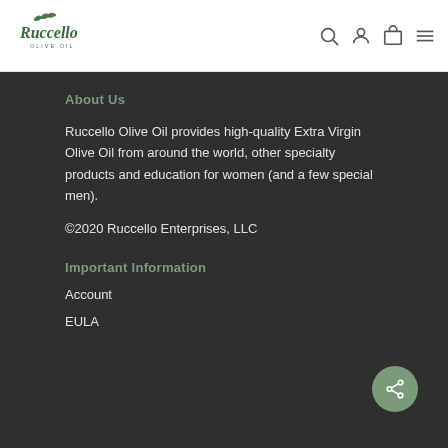[Figure (logo): Ruccello Olive Oil logo in dark green script with leaf decoration]
[Figure (other): Navigation icons: search, account, cart, menu]
About Us
Ruccello Olive Oil provides high-quality Extra Virgin Olive Oil from around the world, other specialty products and education for women (and a few special men).
©2020 Ruccello Enterprises, LLC
Important Information
Account
EULA